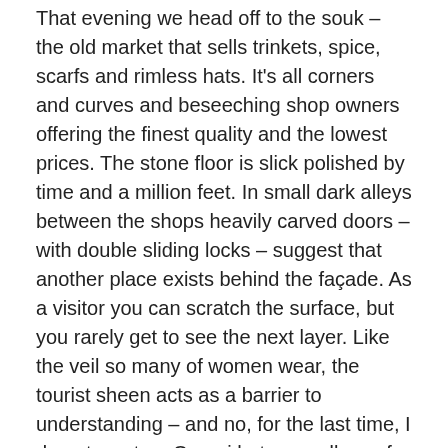That evening we head off to the souk – the old market that sells trinkets, spice, scarfs and rimless hats.  It's all corners and curves and beseeching shop owners offering the finest quality and the lowest prices. The stone floor is slick polished by time and a million feet.  In small dark alleys between the shops heavily carved doors – with double sliding locks – suggest that another place exists behind the façade. As a visitor you can scratch the surface, but you rarely get to see the next layer.  Like the veil so many of women wear, the tourist sheen acts as a barrier to understanding – and no, for the last time, I do not want an Omani hat, regardless of its quality.
Down at the waterfront red legged feeder crabs side walk to shrinking sunny spots.  Legs wave and claws snap, the large displace the medium, the medium displace the small and the small suffer. Crag rocks, oyster pocked and sharp, slice and foam the incoming waves.  A rat, fleet footed, well fed, explores the tunnels within the tumbled rock wall.  Tail drips,